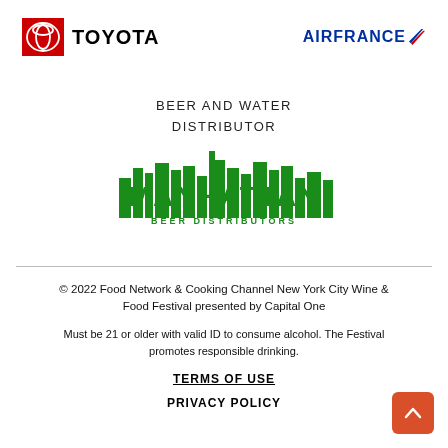[Figure (logo): Toyota logo: red square with Toyota circular emblem icon, followed by bold text TOYOTA]
[Figure (logo): Air France logo: AIRFRANCE in blue bold text with a stylized red and blue diagonal stripe wing mark]
BEER AND WATER DISTRIBUTOR
[Figure (logo): Manhattan Beer Distributors logo in green: stylized city skyline text reading MANHATTAN with BEER DISTRIBUTORS below]
© 2022 Food Network & Cooking Channel New York City Wine & Food Festival presented by Capital One
Must be 21 or older with valid ID to consume alcohol. The Festival promotes responsible drinking.
TERMS OF USE
PRIVACY POLICY